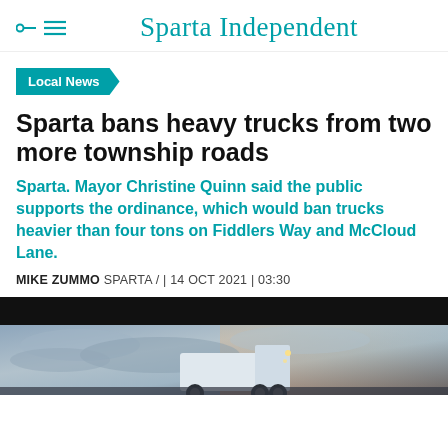Sparta Independent
Local News
Sparta bans heavy trucks from two more township roads
Sparta. Mayor Christine Quinn said the public supports the ordinance, which would ban trucks heavier than four tons on Fiddlers Way and McCloud Lane.
MIKE ZUMMO SPARTA / | 14 OCT 2021 | 03:30
[Figure (photo): Photograph of a semi-truck / heavy truck driving at dusk or dawn with dramatic cloudy sky and warm light in the background]